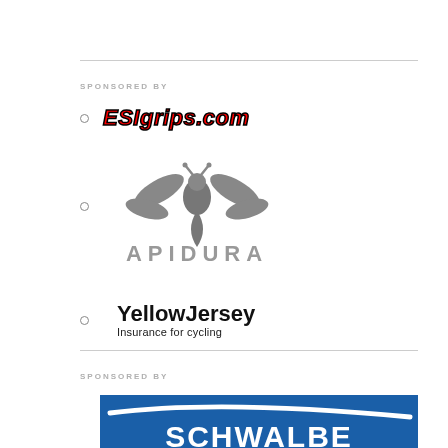SPONSORED BY
ESIgrips.com
[Figure (logo): Apidura logo - stylized bee/wasp insect icon in gray above the text APIDURA in gray bold spaced letters]
YellowJersey Insurance for cycling
SPONSORED BY
[Figure (logo): Schwalbe logo on blue background with white swoosh arc and white text SCHWALBE]